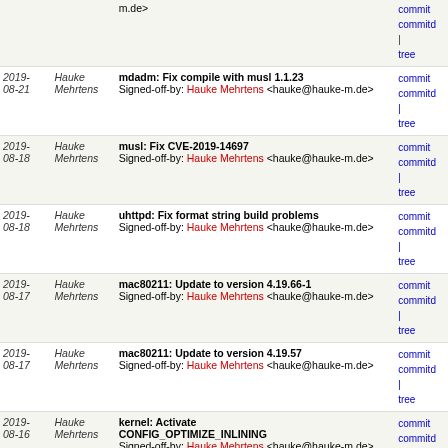| Date | Author | Message | Links |
| --- | --- | --- | --- |
| 2019-08-21 | Hauke Mehrtens | mdadm: Fix compile with musl 1.1.23
Signed-off-by: Hauke Mehrtens <hauke@hauke-m.de> | commit | commitdiff | tree |
| 2019-08-18 | Hauke Mehrtens | musl: Fix CVE-2019-14697
Signed-off-by: Hauke Mehrtens <hauke@hauke-m.de> | commit | commitdiff | tree |
| 2019-08-18 | Hauke Mehrtens | uhttpd: Fix format string build problems
Signed-off-by: Hauke Mehrtens <hauke@hauke-m.de> | commit | commitdiff | tree |
| 2019-08-17 | Hauke Mehrtens | mac80211: Update to version 4.19.66-1
Signed-off-by: Hauke Mehrtens <hauke@hauke-m.de> | commit | commitdiff | tree |
| 2019-08-17 | Hauke Mehrtens | mac80211: Update to version 4.19.57
Signed-off-by: Hauke Mehrtens <hauke@hauke-m.de> | commit | commitdiff | tree |
| 2019-08-16 | Hauke Mehrtens | kernel: Activate CONFIG_OPTIMIZE_INLINING
Signed-off-by: Hauke Mehrtens <hauke@hauke-m.de> | commit | commitdiff | tree |
| 2019-07-11 | Hauke Mehrtens | mac80211: Do not build b43legacy on BRCM47xx mips74...
Signed-off-by: Hauke Mehrtens <hauke@hauke-m.de> | commit | commitdiff | tree |
| 2019-07-08 | Hauke Mehrtens | wolfssl: Fix package hash
Signed-off-by: Hauke Mehrtens <hauke@hauke-m.de> | commit | commitdiff | tree |
| 2019- | Hauke | gemini: Activate Realtek and vitesse DSA | commit | commitdiff |